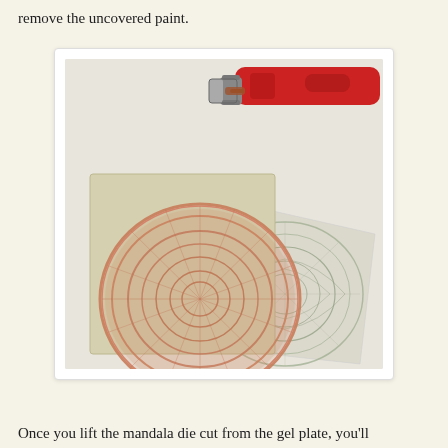remove the uncovered paint.
[Figure (photo): A brayer (rubber roller with red handle) next to a gel plate with a pink/salmon colored mandala doily die cut on top, and a piece of tissue paper with a green/grey mandala print impression beside it, all on a light surface.]
Once you lift the mandala die cut from the gel plate, you'll